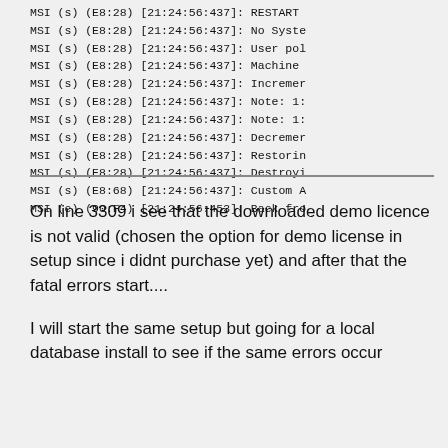MSI (s) (E8:28) [21:24:56:437]: RESTART
MSI (s) (E8:28) [21:24:56:437]: No Syste
MSI (s) (E8:28) [21:24:56:437]: User pol
MSI (s) (E8:28) [21:24:56:437]: Machine
MSI (s) (E8:28) [21:24:56:437]: Incremer
MSI (s) (E8:28) [21:24:56:437]: Note: 1:
MSI (s) (E8:28) [21:24:56:437]: Note: 1:
MSI (s) (E8:28) [21:24:56:437]: Decremer
MSI (s) (E8:28) [21:24:56:437]: Restorin
MSI (s) (E8:28) [21:24:56:437]: Destroyi
MSI (s) (E8:68) [21:24:56:437]: Custom A
MSI (c) (90:F4) [21:24:56:453]: Back fro
On line 3309 i see that the downloaded demo licence is not valid (chosen the option for demo license in setup since i didnt purchase yet) and after that the fatal errors start....
I will start the same setup but going for a local database install to see if the same errors occur